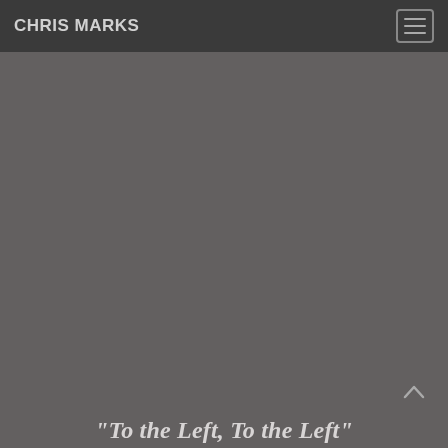CHRIS MARKS
[Figure (screenshot): Dark gray background area filling the main content area of the page]
“To the Left, To the Left”